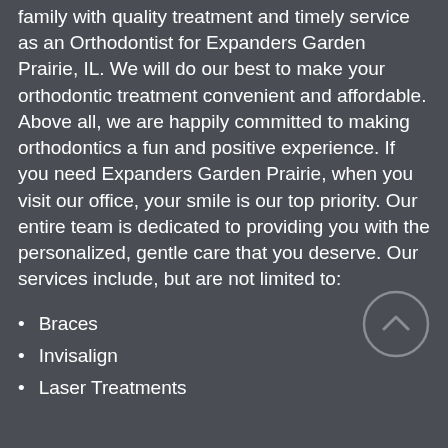family with quality treatment and timely service as an Orthodontist for Expanders Garden Prairie, IL. We will do our best to make your orthodontic treatment convenient and affordable. Above all, we are happily committed to making orthodontics a fun and positive experience. If you need Expanders Garden Prairie, when you visit our office, your smile is our top priority. Our entire team is dedicated to providing you with the personalized, gentle care that you deserve. Our services include, but are not limited to:
Braces
Invisalign
Laser Treatments